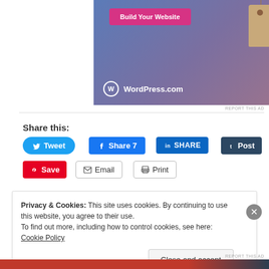[Figure (screenshot): WordPress.com advertisement banner with blue-purple gradient background, 'Build Your Website' pink button, a tan price tag icon, and WordPress.com logo at bottom left]
REPORT THIS AD
Share this:
Tweet
Share 7
SHARE
Post
Save
Email
Print
Privacy & Cookies: This site uses cookies. By continuing to use this website, you agree to their use.
To find out more, including how to control cookies, see here: Cookie Policy
Close and accept
REPORT THIS AD